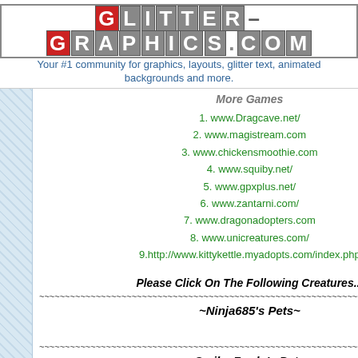GLITTER-GRAPHICS.COM
Your #1 community for graphics, layouts, glitter text, animated backgrounds and more.
More Games
1. www.Dragcave.net/
2. www.magistream.com
3. www.chickensmoothie.com
4. www.squiby.net/
5. www.gpxplus.net/
6. www.zantarni.com/
7. www.dragonadopters.com
8. www.unicreatures.com/
9.http://www.kittykettle.myadopts.com/index.php
Please Click On The Following Creatures...
~Ninja685's Pets~
~Smile_Fredo's Pets~
[Figure (illustration): Small decorative creature icons/thumbnails at the bottom of the page]